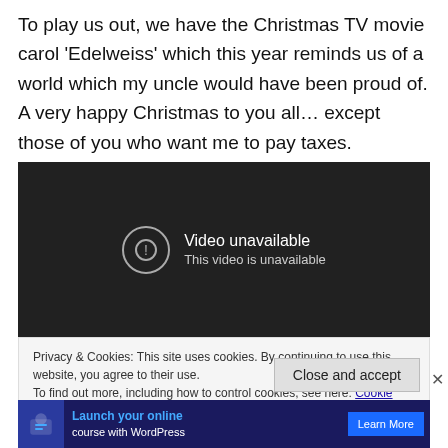To play us out, we have the Christmas TV movie carol 'Edelweiss' which this year reminds us of a world which my uncle would have been proud of. A very happy Christmas to you all… except those of you who want me to pay taxes.
[Figure (screenshot): Embedded video player showing 'Video unavailable - This video is unavailable' message on dark background]
Privacy & Cookies: This site uses cookies. By continuing to use this website, you agree to their use.
To find out more, including how to control cookies, see here: Cookie Policy
[Figure (screenshot): Advertisement banner: Launch your online course with WordPress. Learn More button.]